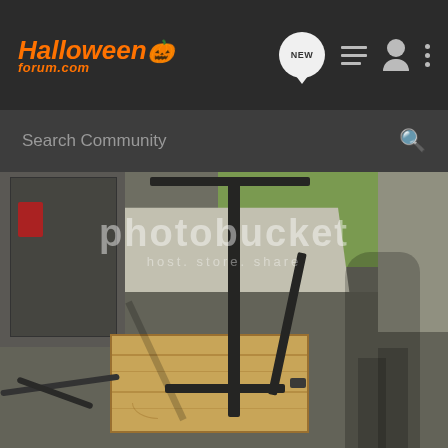[Figure (screenshot): Halloween Forum website header navigation bar with orange logo 'Halloweenforum.com' with pumpkin icon, and navigation icons including NEW chat bubble, list, user/profile, and more (three dots) icons on dark background]
[Figure (screenshot): Search Community search bar on dark gray background with magnifying glass icon]
[Figure (photo): Photobucket watermarked photo showing a DIY metal pipe/conduit frame prop standing upright on a plywood base board on an asphalt driveway, with a concrete walkway and garage in the background. The frame appears to be an L-shaped or T-shaped metal pole structure. Photobucket watermark text visible in upper portion of photo.]